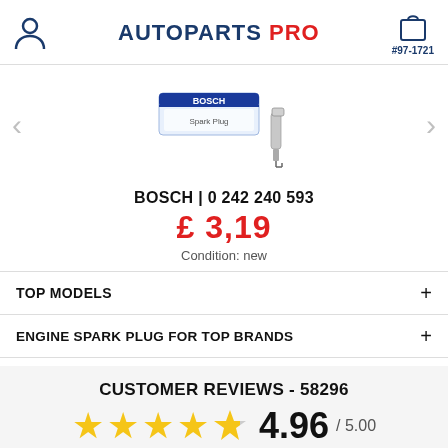AUTOPARTS PRO #97-1721
[Figure (photo): Bosch spark plug product photo with blue and white packaging]
BOSCH | 0 242 240 593
£ 3,19
Condition: new
TOP MODELS
ENGINE SPARK PLUG FOR TOP BRANDS
CUSTOMER REVIEWS - 58296
4.96 / 5.00
more reviews...